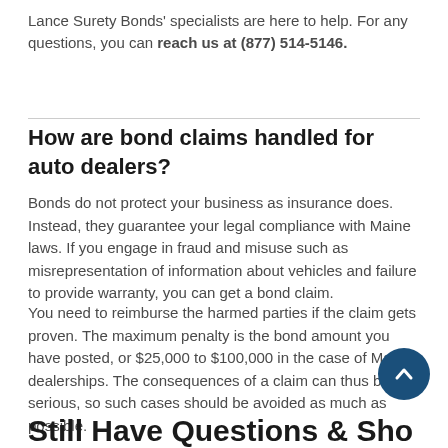Lance Surety Bonds' specialists are here to help. For any questions, you can reach us at (877) 514-5146.
How are bond claims handled for auto dealers?
Bonds do not protect your business as insurance does. Instead, they guarantee your legal compliance with Maine laws. If you engage in fraud and misuse such as misrepresentation of information about vehicles and failure to provide warranty, you can get a bond claim.
You need to reimburse the harmed parties if the claim gets proven. The maximum penalty is the bond amount you have posted, or $25,000 to $100,000 in the case of Maine dealerships. The consequences of a claim can thus be serious, so such cases should be avoided as much as possible.